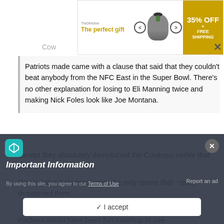[Figure (screenshot): Advertisement banner: 'The perfect gift' with pot image, navigation arrows, and '35% OFF + FREE SHIPPING' gold badge]
Patriots made came with a clause that said that they couldn't beat anybody from the NFC East in the Super Bowl. There's no other explanation for losing to Eli Manning twice and making Nick Foles look like Joe Montana.
Except they absolutely demolished the Cowboys earlier that season.
Giants (also Baltimore) were the only teams that  really threatened them.
Packers would have been fun matchup to see.
[Figure (screenshot): Cookie consent overlay with 'Important Information' heading and 'I accept' button]